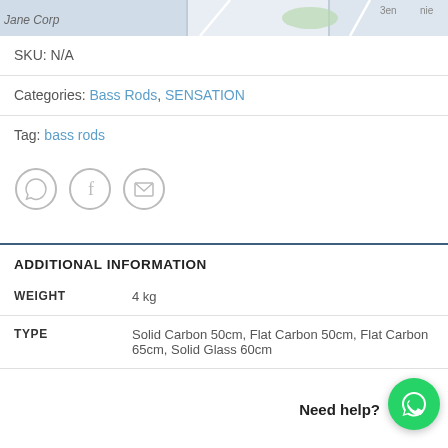[Figure (map): Partial map screenshot showing 'Jane Corp' label and map tiles with street/area segments, partially cut off at top]
SKU: N/A
Categories: Bass Rods, SENSATION
Tag: bass rods
[Figure (other): Three circular social share icons: WhatsApp, Facebook, Email]
ADDITIONAL INFORMATION
|  |  |
| --- | --- |
| WEIGHT | 4 kg |
| TYPE | Solid Carbon 50cm, Flat Carbon 50cm, Flat Carbon 65cm, Solid Glass 60cm |